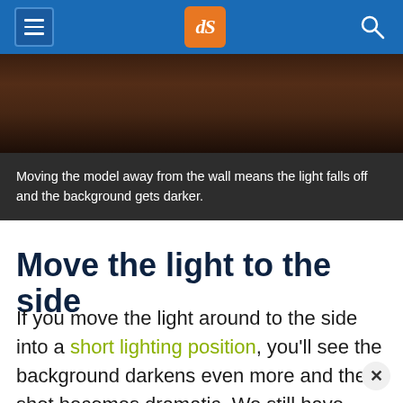dPS (Digital Photography School)
[Figure (photo): Partial photo of model with dark hair against dark background, with caption overlay: Moving the model away from the wall means the light falls off and the background gets darker.]
Moving the model away from the wall means the light falls off and the background gets darker.
Move the light to the side
If you move the light around to the side into a short lighting position, you’ll see the background darkens even more and the shot becomes dramatic. We still have some light spilling onto